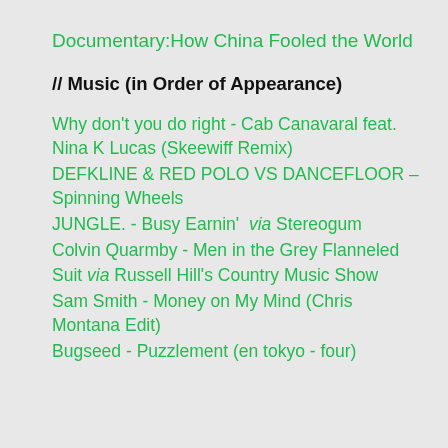Documentary:How China Fooled the World
// Music (in Order of Appearance)
Why don't you do right - Cab Canavaral feat. Nina K Lucas (Skeewiff Remix)
DEFKLINE & RED POLO VS DANCEFLOOR - Spinning Wheels
JUNGLE. - Busy Earnin'  via Stereogum
Colvin Quarmby - Men in the Grey Flanneled Suit via Russell Hill's Country Music Show
Sam Smith - Money on My Mind (Chris Montana Edit)
Bugseed - Puzzlement (en tokyo - four)